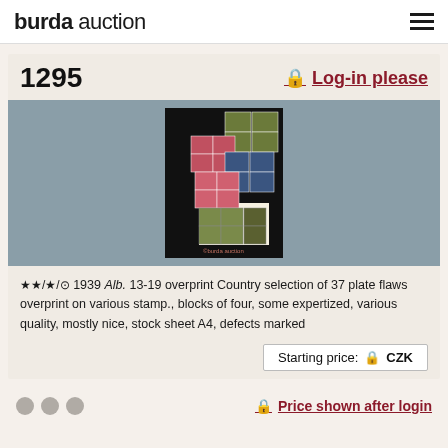burda auction
1295
🔒 Log-in please
[Figure (photo): Collection of stamp blocks arranged on black background, various colors including pink, blue, green and olive, blocks of four stamps on a light sheet]
★★/★/⊙  1939 Alb. 13-19 overprint Country selection of 37 plate flaws overprint on various stamp., blocks of four, some expertized, various quality, mostly nice, stock sheet A4, defects marked
Starting price: 🔒 CZK
🔒 Price shown after login